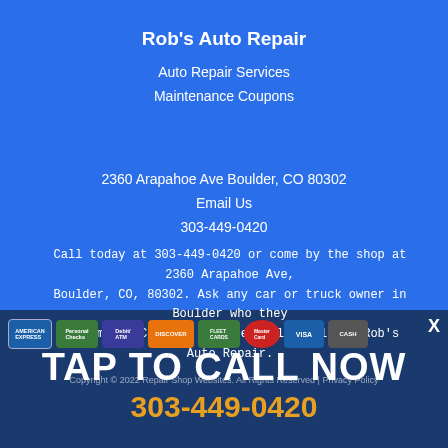Rob's Auto Repair
Auto Repair Services
Maintenance Coupons
2360 Arapahoe Ave Boulder, CO 80302
Email Us
303-449-0420
Call today at 303-449-0420 or come by the shop at 2360 Arapahoe Ave, Boulder, CO, 80302. Ask any car or truck owner in Boulder who they recommend. Chances are they will tell you Rob's Auto Repair.
[Figure (infographic): Payment method icons: American Express, Personal Checks, Debit/ATM, Discover, Fleet Cards, MasterCard, Visa, Cash]
TAP TO CALL NOW
Copyright © 2022 Repair Shop Websites. All Rights Reserved | Privacy Policy
303-449-0420